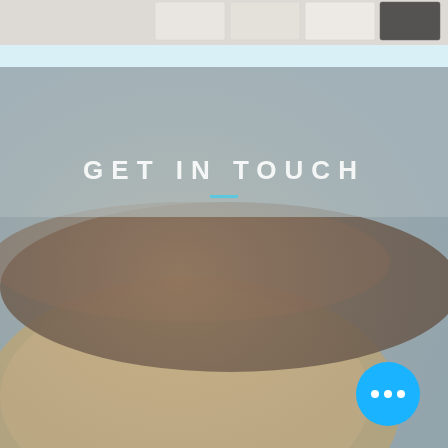[Figure (photo): Top portion of a photo showing material samples or tiles on a white surface, partially cropped]
[Figure (photo): Blurred close-up photo of a round wooden bowl or wooden object on a grey surface, warm beige and brown tones]
GET IN TOUCH
[Figure (other): Blue circular chat/more options button with three white dots in the bottom right corner]